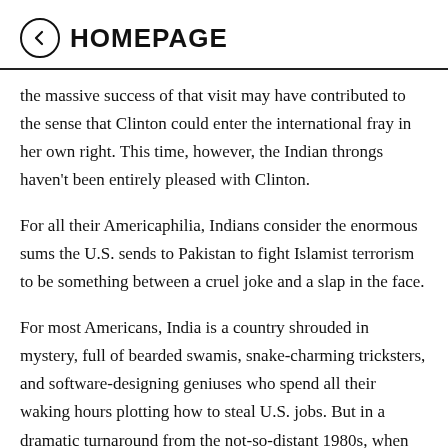HOMEPAGE
the massive success of that visit may have contributed to the sense that Clinton could enter the international fray in her own right. This time, however, the Indian throngs haven't been entirely pleased with Clinton.
For all their Americaphilia, Indians consider the enormous sums the U.S. sends to Pakistan to fight Islamist terrorism to be something between a cruel joke and a slap in the face.
For most Americans, India is a country shrouded in mystery, full of bearded swamis, snake-charming tricksters, and software-designing geniuses who spend all their waking hours plotting how to steal U.S. jobs. But in a dramatic turnaround from the not-so-distant 1980s, when India was a staunch ally of the USSR and the